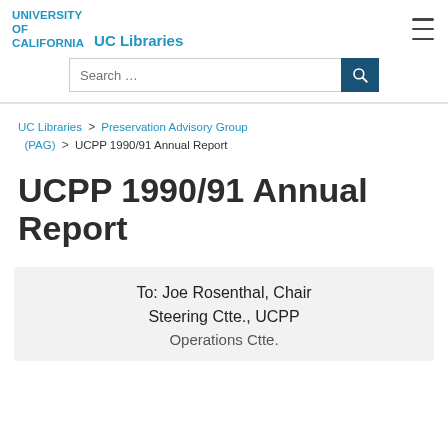UNIVERSITY OF CALIFORNIA   UC Libraries
Search ...
UC Libraries > Preservation Advisory Group (PAG) > UCPP 1990/91 Annual Report
UCPP 1990/91 Annual Report
To: Joe Rosenthal, Chair
Steering Ctte., UCPP
Operations Ctte.